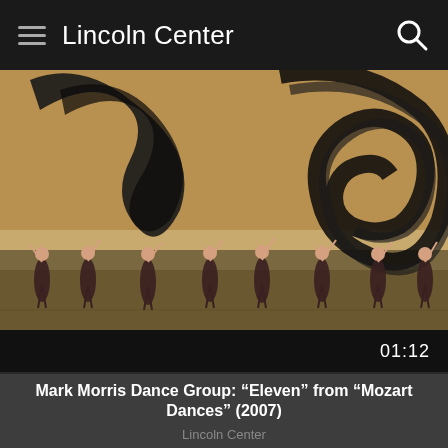Lincoln Center
[Figure (screenshot): Video thumbnail showing ballet dancers on stage with large abstract ink brush stroke artwork in the background. Multiple female dancers in dark dresses with one arm raised are arranged across the stage. The stage has a warm tan/beige background with dramatic black swirling ink strokes.]
01:12
Mark Morris Dance Group: “Eleven” from “Mozart Dances” (2007)
Lincoln Center